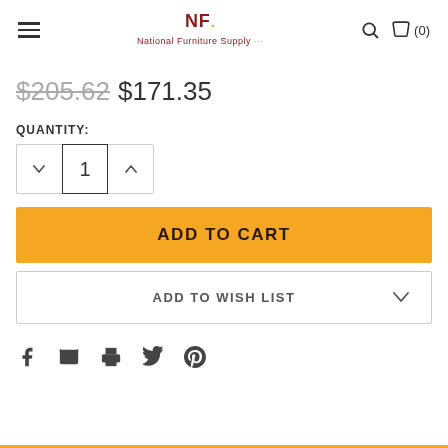NF National Furniture Supply — navigation header with hamburger menu, logo, search and cart icons
$205.62 $171.35
QUANTITY:
1
ADD TO CART
ADD TO WISH LIST
[Figure (other): Social sharing icons: Facebook, Email, Print, Twitter, Pinterest]